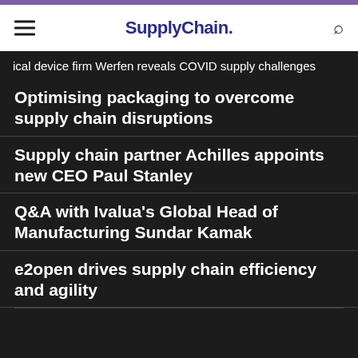SupplyChain.
ical device firm Werfen reveals COVID supply challenges
Optimising packaging to overcome supply chain disruptions
Supply chain partner Achilles appoints new CEO Paul Stanley
Q&A with Ivalua's Global Head of Manufacturing Sundar Kamak
e2open drives supply chain efficiency and agility